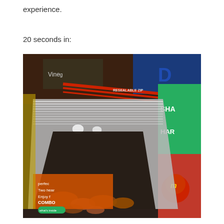experience.
20 seconds in:
[Figure (photo): A photo showing an open resealable plastic bag of snack food (appears to be nuts or pretzels) partially open, surrounded by other snack packages including what appears to be M&Ms sharing size bag and other candy/snack packages in the background.]